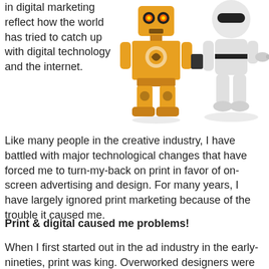in digital marketing reflect how the world has tried to catch up with digital technology and the internet.
[Figure (illustration): Two robot figures side by side: an orange boxy papercraft-style robot on the left and a sleek white humanoid robot on the right pointing with one finger.]
Like many people in the creative industry, I have battled with major technological changes that have forced me to turn-my-back on print in favor of on-screen advertising and design. For many years, I have largely ignored print marketing because of the trouble it caused me.
Print & digital caused me problems!
When I first started out in the ad industry in the early-nineties, print was king. Overworked designers were hand-rendering print ads using transfer lettering, reprographics